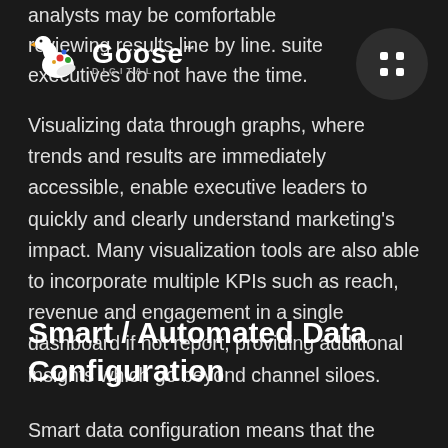analysts may be comfortable reviewing results line by line. suite executives do not have the time.
[Figure (logo): Goose Digital logo with stylized bird and colorful dots, white text reading 'Goose' with 'DIGITAL' beneath]
[Figure (other): Dark circle with 4 white dots arranged in a 2x2 grid]
Visualizing data through graphs, where trends and results are immediately accessible, enable executive leaders to quickly and clearly understand marketing’s impact. Many visualization tools are also able to incorporate multiple KPIs such as reach, revenue and engagement in a single dashboard if not report, providing additional insights which go beyond channel siloes.
Smart / Automated Data Configuration
Smart data configuration means that the heavy lifting of